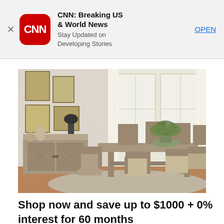[Figure (screenshot): App store banner for CNN: Breaking US & World News with red rounded square logo, close X button, and OPEN link]
[Figure (photo): Dining room furniture set with large rectangular table, multiple chairs with beige upholstery, and a sideboard/buffet with barn door style, styled with plants and artwork on herringbone wallpaper]
Shop now and save up to $1000 + 0% interest for 60 months